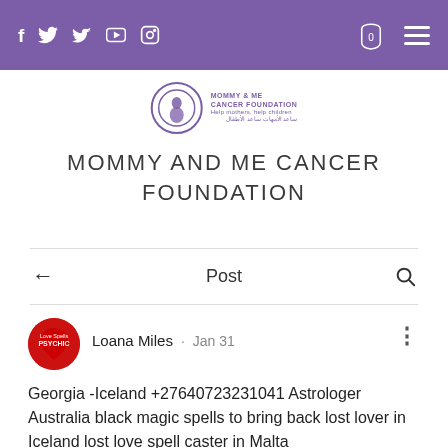f  🐦  ▶  📷    [cart: 0]  [menu]
[Figure (logo): Mommy and Me Cancer Foundation circular logo with figure icon]
MOMMY AND ME CANCER FOUNDATION
← Post 🔍
[Figure (photo): Red heart-shaped psychic avatar logo for Loana Miles]
Loana Miles · Jan 31
Georgia -Iceland +27640723231041 Astrologer Australia black magic spells to bring back lost lover in Iceland lost love spell caster in Malta